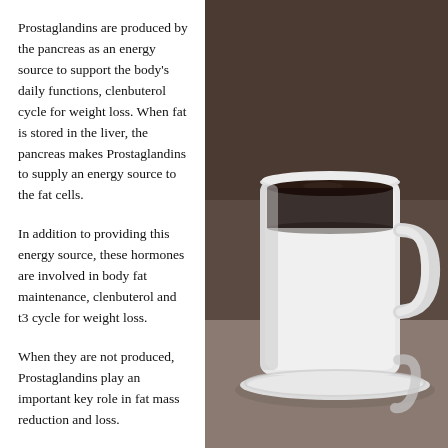Prostaglandins are produced by the pancreas as an energy source to support the body's daily functions, clenbuterol cycle for weight loss. When fat is stored in the liver, the pancreas makes Prostaglandins to supply an energy source to the fat cells.
In addition to providing this energy source, these hormones are involved in body fat maintenance, clenbuterol and t3 cycle for weight loss.
When they are not produced, Prostaglandins play an important key role in fat mass reduction and loss.
If the fat cells take up large amounts of Prostaglandins and this makes the fat cells very fat, then that is a clue to indicate that it could be a "mass building" condition for the fat cells. However, if the excess
[Figure (photo): A close-up photo of a white ceramic coffee mug on a saucer, with dark coffee visible inside, set against a dark blurred background.]